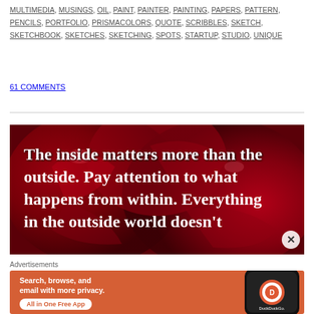MULTIMEDIA, MUSINGS, OIL, PAINT, PAINTER, PAINTING, PAPERS, PATTERN, PENCILS, PORTFOLIO, PRISMACOLORS, QUOTE, SCRIBBLES, SKETCH, SKETCHBOOK, SKETCHES, SKETCHING, SPOTS, STARTUP, STUDIO, UNIQUE
61 COMMENTS
[Figure (photo): Red roses background with white bold serif text: 'The inside matters more than the outside. Pay attention to what happens from within. Everything in the outside world doesn't']
Advertisements
[Figure (infographic): DuckDuckGo advertisement on orange background: 'Search, browse, and email with more privacy. All in One Free App' with phone showing DuckDuckGo logo]